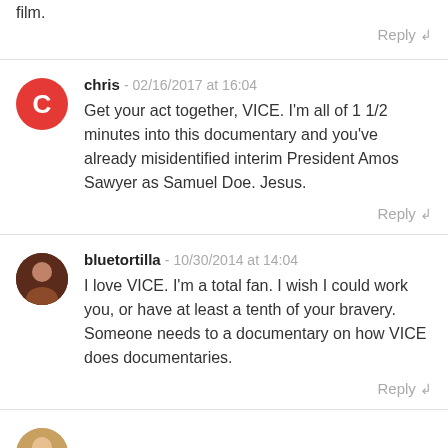film.
Reply ↲
chris - 02/16/2017 at 16:04
Get your act together, VICE. I'm all of 1 1/2 minutes into this documentary and you've already misidentified interim President Amos Sawyer as Samuel Doe. Jesus.
Reply ↲
bluetortilla - 10/30/2014 at 14:04
I love VICE. I'm a total fan. I wish I could work you, or have at least a tenth of your bravery. Someone needs to a documentary on how VICE does documentaries.
Reply ↲